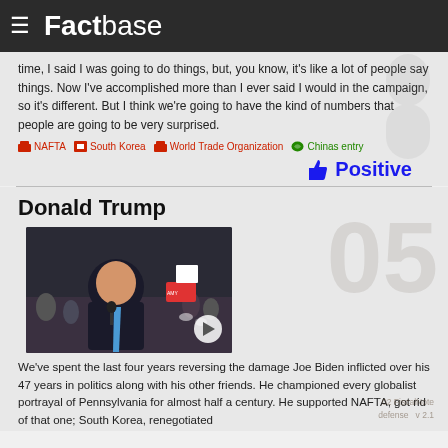Factbase
time, I said I was going to do things, but, you know, it's like a lot of people say things. Now I've accomplished more than I ever said I would in the campaign, so it's different. But I think we're going to have the kind of numbers that people are going to be very surprised.
NAFTA  South Korea  World Trade Organization  Chinas entry
Positive
Donald Trump
[Figure (photo): Donald Trump speaking at a rally with crowd behind him, video thumbnail with play button]
We've spent the last four years reversing the damage Joe Biden inflicted over his 47 years in politics along with his other friends. He championed every globalist portrayal of Pennsylvania for almost half a century. He supported NAFTA, got rid of that one; South Korea, renegotiated